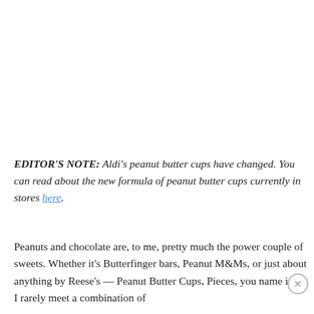EDITOR'S NOTE: Aldi's peanut butter cups have changed. You can read about the new formula of peanut butter cups currently in stores here.
Peanuts and chocolate are, to me, pretty much the power couple of sweets. Whether it's Butterfinger bars, Peanut M&Ms, or just about anything by Reese's — Peanut Butter Cups, Pieces, you name it — I rarely meet a combination of